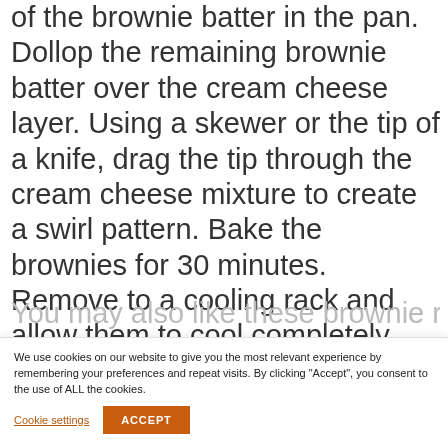of the brownie batter in the pan. Dollop the remaining brownie batter over the cream cheese layer. Using a skewer or the tip of a knife, drag the tip through the cream cheese mixture to create a swirl pattern. Bake the brownies for 30 minutes. Remove to a cooling rack and allow them to cool completely before cutting.
We use cookies on our website to give you the most relevant experience by remembering your preferences and repeat visits. By clicking "Accept", you consent to the use of ALL the cookies.
Cookie settings
ACCEPT